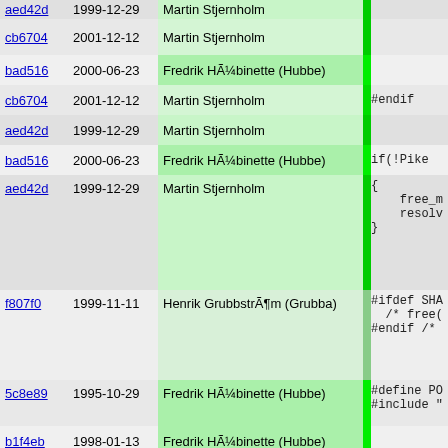| hash | date | author | code |
| --- | --- | --- | --- |
| aed42d | 1999-12-29 | Martin Stjernholm |  |
| cb6704 | 2001-12-12 | Martin Stjernholm |  |
| bad516 | 2000-06-23 | Fredrik HÃ¼binette (Hubbe) |  |
| cb6704 | 2001-12-12 | Martin Stjernholm | #endif |
| aed42d | 1999-12-29 | Martin Stjernholm |  |
| bad516 | 2000-06-23 | Fredrik HÃ¼binette (Hubbe) | if(!Pike |
| aed42d | 1999-12-29 | Martin Stjernholm | {
  free_m
  resolv
} |
| f807f0 | 1999-11-11 | Henrik GrubbstrÃ¶m (Grubba) | #ifdef SHA
  /* free(
#endif /* |
| 5c8e89 | 1995-10-29 | Fredrik HÃ¼binette (Hubbe) | #define PO
#include " |
| b1f4eb | 1998-01-13 | Fredrik HÃ¼binette (Hubbe) |  |
| fb2f66 | 1998-11-05 | Fredrik HÃ¼binette (Hubbe) | exit_typ |
| 05590d | 1998-04-23 | Fredrik HÃ¼binette (Hubbe) |  |
| b3cca7 | 2001-06-14 | Henrik GrubbstrÃ¶m (Grubba) | CDFPRINT |